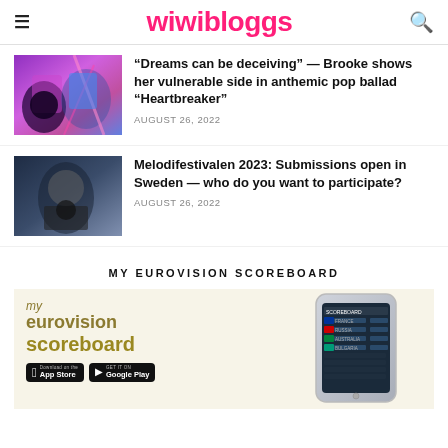wiwibloggs
“Dreams can be deceiving” — Brooke shows her vulnerable side in anthemic pop ballad “Heartbreaker”
AUGUST 26, 2022
Melodifestivalen 2023: Submissions open in Sweden — who do you want to participate?
AUGUST 26, 2022
MY EUROVISION SCOREBOARD
[Figure (infographic): My Eurovision Scoreboard app promotion with logo text reading 'my eurovision scoreboard', App Store and Google Play badges, and a phone mockup showing the app interface with country flags and scores]